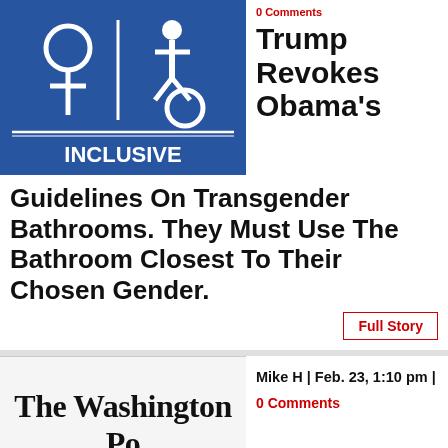[Figure (photo): Blue inclusive restroom sign with female and wheelchair accessibility symbols, text reading INCLUSIVE]
Trump Revokes Obama's Guidelines On Transgender Bathrooms. They Must Use The Bathroom Closest To Their Chosen Gender.
Full Story
Mike H | Feb. 23, 1:10 pm |
0 Comments
[Figure (logo): The Washington Post masthead with tagline 'Democracy Dies in Darkness' circled in red]